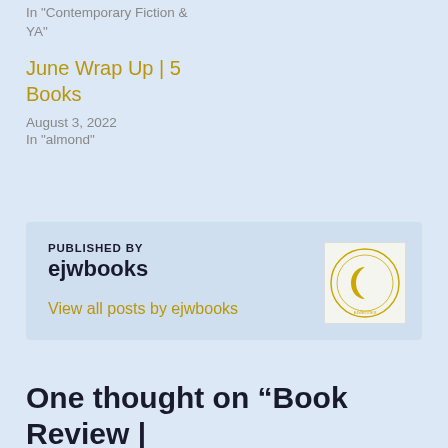In "Contemporary Fiction & YA"
July 22, 2022
In "SFF"
June Wrap Up | 5 Books
August 3, 2022
In "almond"
PUBLISHED BY
ejwbooks
View all posts by ejwbooks
[Figure (logo): Circular logo with crescent moon symbol and text around the border]
One thought on “Book Review |